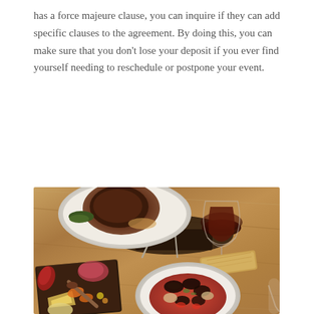has a force majeure clause, you can inquire if they can add specific clauses to the agreement. By doing this, you can make sure that you don't lose your deposit if you ever find yourself needing to reschedule or postpone your event.
[Figure (photo): Overhead view of a restaurant table with multiple dishes including a steak plate, a seafood pasta bowl with mussels and clams in tomato sauce, a charcuterie/cheese board with vegetables and meats, crusty bread, and a glass of red wine on a wooden table.]